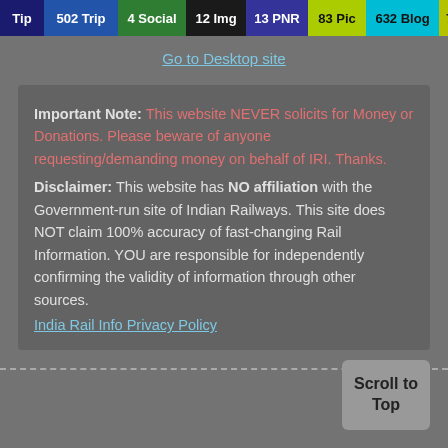Tip  502 Trip  4 Social  12 Img  13 PNR  83 Pic  632 Blog  75 News  1 Topic
Go to Desktop site
Important Note: This website NEVER solicits for Money or Donations. Please beware of anyone requesting/demanding money on behalf of IRI. Thanks. Disclaimer: This website has NO affiliation with the Government-run site of Indian Railways. This site does NOT claim 100% accuracy of fast-changing Rail Information. YOU are responsible for independently confirming the validity of information through other sources.
India Rail Info Privacy Policy